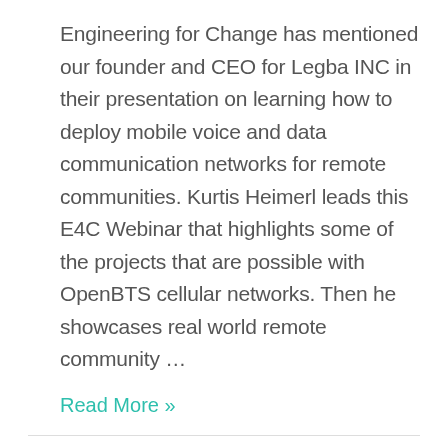Engineering for Change has mentioned our founder and CEO for Legba INC in their presentation on learning how to deploy mobile voice and data communication networks for remote communities. Kurtis Heimerl leads this E4C Webinar that highlights some of the projects that are possible with OpenBTS cellular networks. Then he showcases real world remote community …
Read More »
[Figure (photo): A person holding a smartphone taking a photo of a cityscape with a large red brick tower (resembling the Kremlin in Moscow), historic buildings, and a blue sky in the background.]